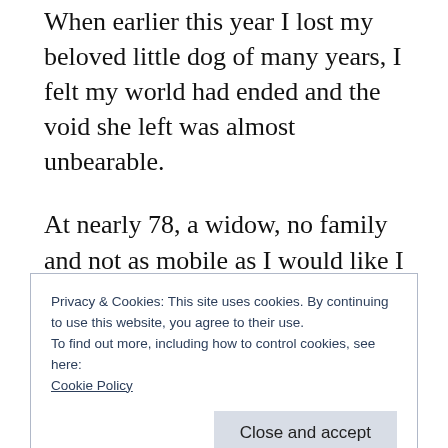When earlier this year I lost my beloved little dog of many years, I felt my world had ended and the void she left was almost unbearable.
At nearly 78, a widow, no family and not as mobile as I would like I tried hard to accept that another little dog was just not a realistic possibility.
The day's turned into weeks but the awful solitude did not improve. I knew I could still
Privacy & Cookies: This site uses cookies. By continuing to use this website, you agree to their use.
To find out more, including how to control cookies, see here:
Cookie Policy
Close and accept
possibility of adopting an older dog. I contacted